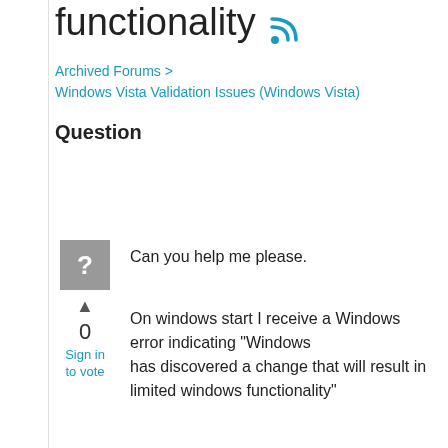functionality
Archived Forums > Windows Vista Validation Issues (Windows Vista)
Question
[Figure (other): Gray square avatar with white question mark icon]
0
Sign in to vote
Can you help me please.
On windows start I receive a Windows error indicating "Windows has discovered a change that will result in limited windows functionality"